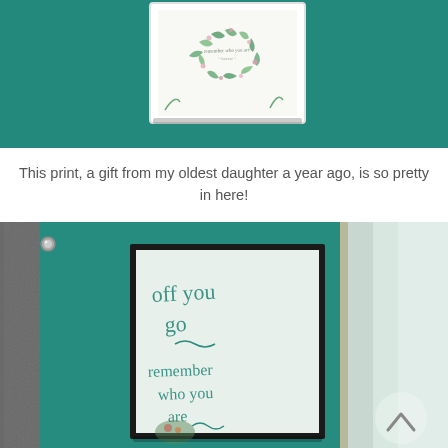[Figure (photo): Photo of a framed botanical wreath print hanging on a teal/turquoise textured wall, centered near top of frame.]
This print, a gift from my oldest daughter a year ago, is so pretty in here!
[Figure (photo): Photo of a framed vertical print with cursive handwriting reading 'off you go remember who you are' hanging on a teal textured wall; visible door frame and paint swatches on the right side; small circular hook/bolt visible upper left.]